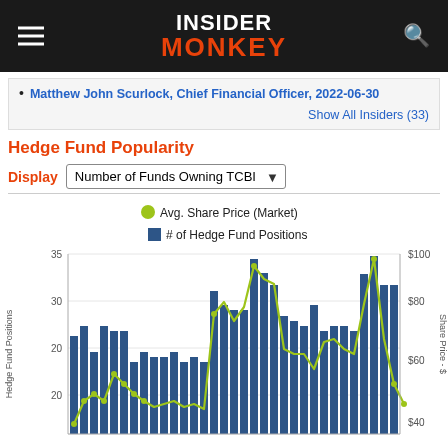Insider Monkey
Matthew John Scurlock, Chief Financial Officer, 2022-06-30
Show All Insiders (33)
Hedge Fund Popularity
Display: Number of Funds Owning TCBI
[Figure (line-chart): Dual-axis chart showing Avg. Share Price (Market) as a green line and # of Hedge Fund Positions as blue bars over time. Left y-axis shows Hedge Fund Positions (values around 18-35), right y-axis shows Share Price in $ (approx $40-$100). The green line peaks around 34 in the middle period and declines. Bars range from about 14 to 35.]